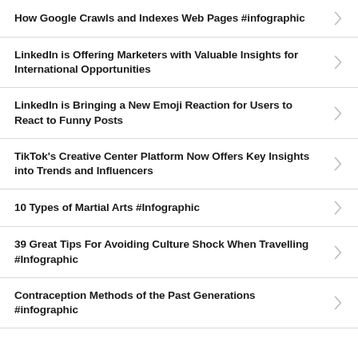How Google Crawls and Indexes Web Pages #infographic
LinkedIn is Offering Marketers with Valuable Insights for International Opportunities
LinkedIn is Bringing a New Emoji Reaction for Users to React to Funny Posts
TikTok's Creative Center Platform Now Offers Key Insights into Trends and Influencers
10 Types of Martial Arts #Infographic
39 Great Tips For Avoiding Culture Shock When Travelling #Infographic
Contraception Methods of the Past Generations #infographic